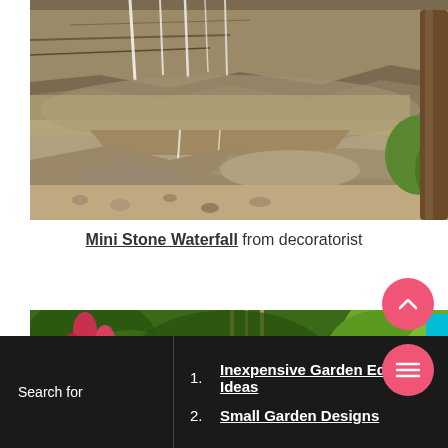[Figure (photo): A mini stone waterfall with layered rocks and water cascading into a shallow pool surrounded by natural pebbles, with a tree trunk visible on the right side.]
Mini Stone Waterfall from decoratorist
[Figure (photo): A lush garden scene with tropical-looking plants, red flowers, bamboo, and green foliage.]
1. Inexpensive Garden Edging Ideas
2. Small Garden Designs
Search for